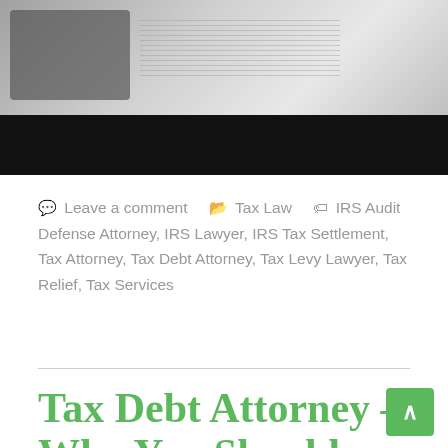[Figure (photo): Top portion of a webpage showing a photo of a calculator and tax/financial documents, with a black bar overlay at the bottom of the image.]
Leave a comment   Tax Law   IRS Audit Defense Attorney, IRS Lawyer, IRS Tax Settlement, Tax Attorney, Tax Debt Attorney, Tax Levy Lawyer, Tax Relief, Tax Services
Tax Debt Attorney – Why You Should Hire One